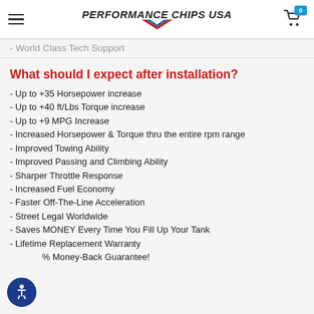PERFORMANCE CHIPS USA
- World Class Tech Support
What should I expect after installation?
- Up to +35 Horsepower increase
- Up to +40 ft/Lbs Torque increase
- Up to +9 MPG Increase
- Increased Horsepower & Torque thru the entire rpm range
- Improved Towing Ability
- Improved Passing and Climbing Ability
- Sharper Throttle Response
- Increased Fuel Economy
- Faster Off-The-Line Acceleration
- Street Legal Worldwide
- Saves MONEY Every Time You Fill Up Your Tank
- Lifetime Replacement Warranty
- % Money-Back Guarantee!